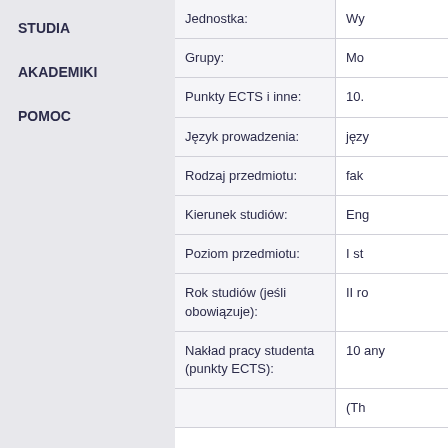STUDIA
AKADEMIKI
POMOC
| Field | Value |
| --- | --- |
| Jednostka: | Wy... |
| Grupy: | Mo... |
| Punkty ECTS i inne: | 10. |
| Język prowadzenia: | języ... |
| Rodzaj przedmiotu: | fak... |
| Kierunek studiów: | Eng... |
| Poziom przedmiotu: | I st... |
| Rok studiów (jeśli obowiązuje): | II ro... |
| Nakład pracy studenta (punkty ECTS): | 10 any... |
|  | (Th... |